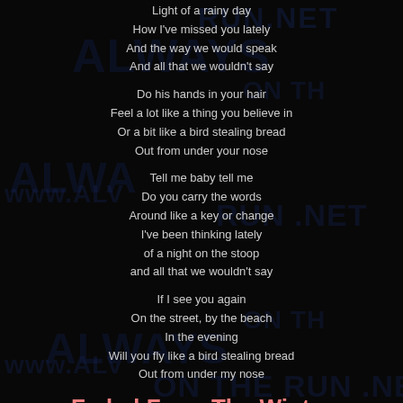Light of a rainy day
How I've missed you lately
And the way we would speak
And all that we wouldn't say
Do his hands in your hair
Feel a lot like a thing you believe in
Or a bit like a bird stealing bread
Out from under your nose
Tell me baby tell me
Do you carry the words
Around like a key or change
I've been thinking lately
of a night on the stoop
and all that we wouldn't say
If I see you again
On the street, by the beach
In the evening
Will you fly like a bird stealing bread
Out from under my nose
Faded From The Winter
Daddy's ghost behind you
Sleeping dog beside you